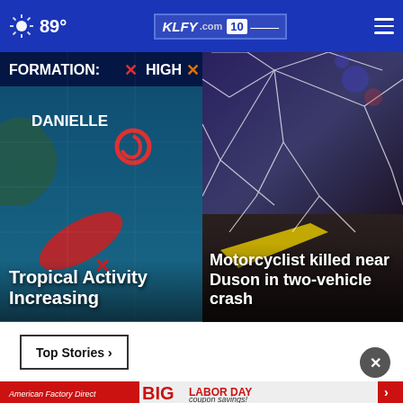89° KLFY.com 10
[Figure (screenshot): Tropical storm tracker map showing 'FORMATION: HIGH' label with X markers and storm symbol labeled DANIELLE, red cone/track indicator]
Tropical Activity Increasing
[Figure (photo): Close-up photo of shattered vehicle windshield glass with road surface visible, emergency light reflections]
Motorcyclist killed near Duson in two-vehicle crash
Top Stories ›
[Figure (infographic): Advertisement banner: BIG LABOR DAY coupon savings - American Factory Direct Furniture, Lafayette]